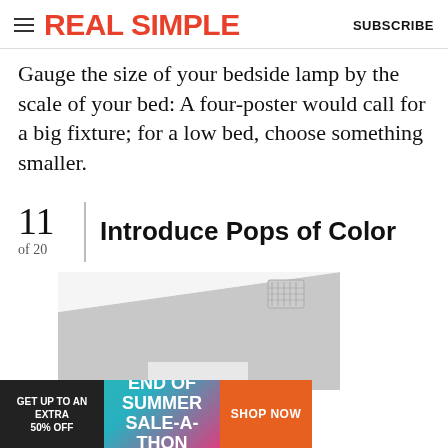REAL SIMPLE | SUBSCRIBE
Gauge the size of your bedside lamp by the scale of your bed: A four-poster would call for a big fixture; for a low bed, choose something smaller.
11 of 20 | Introduce Pops of Color
[Figure (photo): Partial view of a bedroom with grey and white walls, a white rectangular element visible at the bottom, and a ventilation grille on the ceiling.]
[Figure (infographic): Advertisement banner: GET UP TO AN EXTRA 50% OFF | END OF SUMMER SALE-A-THON | SHOP NOW]